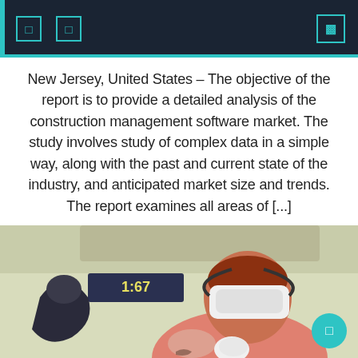Navigation header with icons and search
New Jersey, United States – The objective of the report is to provide a detailed analysis of the construction management software market. The study involves study of complex data in a simple way, along with the past and current state of the industry, and anticipated market size and trends. The report examines all areas of [...]
June 9, 2022  Christopher C. Gardner  Comments Off
[Figure (photo): Woman wearing a white VR headset and holding VR controllers, wearing a pink polo shirt, in front of a screen showing a game with score 1:67]